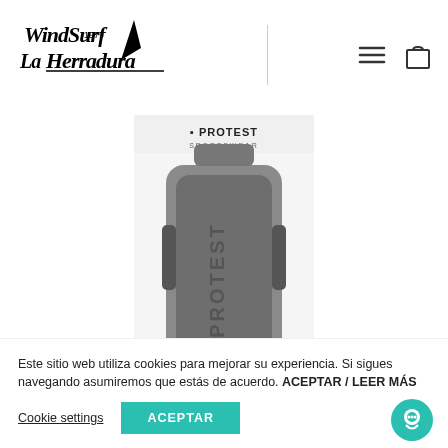[Figure (logo): WindSurf La Herradura 1979 logo with cursive black text and a small sailboard icon]
[Figure (photo): Protest Sportswear product - a silver/grey belt buckle or accessory with PROTEST branding, shown against white background]
Este sitio web utiliza cookies para mejorar su experiencia. Si sigues navegando asumiremos que estás de acuerdo. ACEPTAR / LEER MÁS
Cookie settings
ACEPTAR